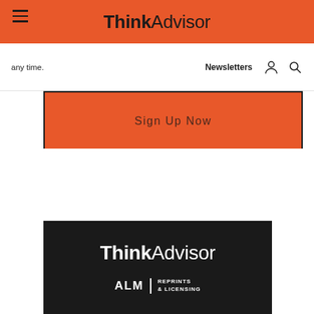ThinkAdvisor
any time.
Newsletters
Sign Up Now
[Figure (logo): ThinkAdvisor logo with ALM Reprints & Licensing text on dark background]